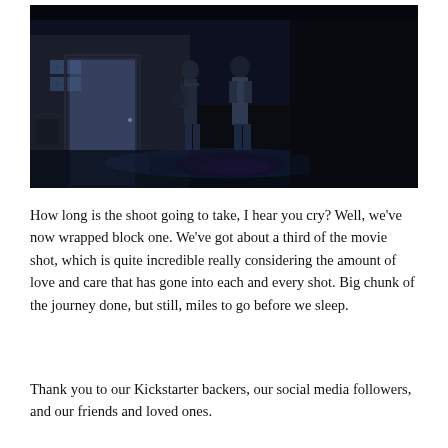[Figure (photo): A dark film scene showing two people standing outside a house at night, with a lit doorway visible. A third person appears to be on the ground in the foreground.]
How long is the shoot going to take, I hear you cry? Well, we've now wrapped block one. We've got about a third of the movie shot, which is quite incredible really considering the amount of love and care that has gone into each and every shot. Big chunk of the journey done, but still, miles to go before we sleep.
Thank you to our Kickstarter backers, our social media followers, and our friends and loved ones.